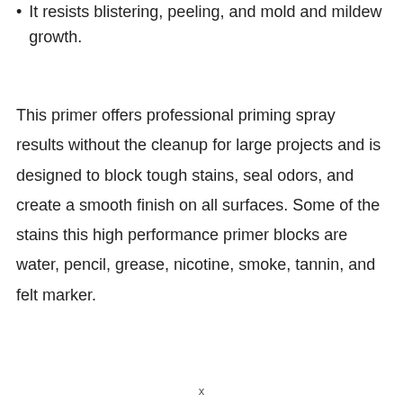It resists blistering, peeling, and mold and mildew growth.
This primer offers professional priming spray results without the cleanup for large projects and is designed to block tough stains, seal odors, and create a smooth finish on all surfaces. Some of the stains this high performance primer blocks are water, pencil, grease, nicotine, smoke, tannin, and felt marker.
x